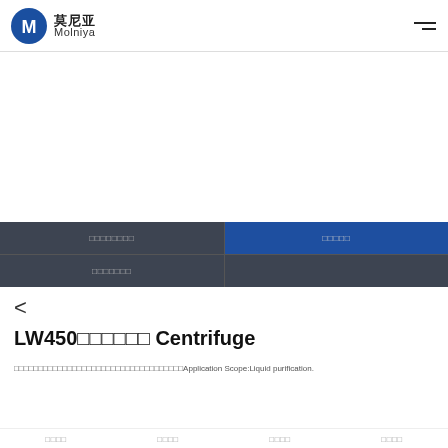莫尼亚 Molniya (logo header)
| □□□□□□□□ | □□□□□ |
| --- | --- |
| □□□□□□□ |  |
<
LW450□□□□□□ Centrifuge
□□□□□□□□□□□□□□□□□□□□□□□□□□□□□□□□□□□Application Scope:Liquid purification.
□□□□  □□□□  □□□□  □□□□